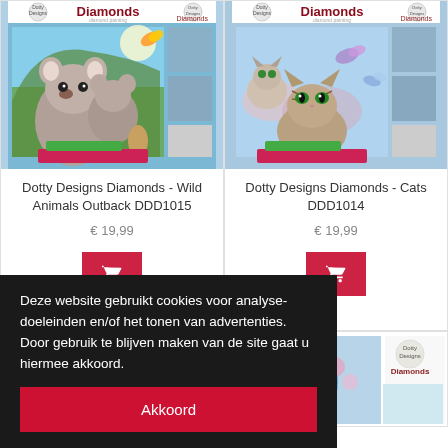[Figure (photo): Dotty Designs Diamonds product packaging for Wild Animals Outback DDD1015, showing two koala bears on a tree branch with a butterfly, colorful Australian animals, and a sample of the diamond painting kit contents]
Dotty Designs Diamonds - Wild Animals Outback DDD1015
€ 19,99
[Figure (photo): Dotty Designs Diamonds product packaging for Cats DDD1014, showing three kittens with butterflies and flowers, sample of diamond painting kit contents]
Dotty Designs Diamonds - Cats DDD1014
€ 19,99
[Figure (photo): Partially visible product packaging at bottom left]
[Figure (photo): Partially visible Dotty Designs Diamonds product packaging at bottom right, showing a peacock with flowers]
Deze website gebruikt cookies voor analyse-doeleinden en/of het tonen van advertenties. Door gebruik te blijven maken van de site gaat u hiermee akkoord.
Akkoord